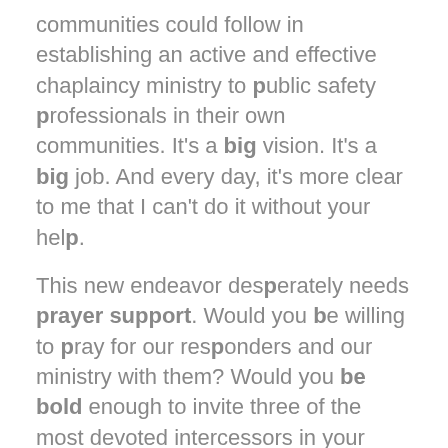communities could follow in establishing an active and effective chaplaincy ministry to public safety professionals in their own communities. It's a big vision. It's a big job. And every day, it's more clear to me that I can't do it without your help.
This new endeavor desperately needs prayer support. Would you be willing to pray for our responders and our ministry with them? Would you be bold enough to invite three of the most devoted intercessors in your church to join you in praying? Would you consider inviting your entire church family to pray with you? Ask them to pray every time they hear a siren, drive past a station, or see the numbers "911".
In a very short while, we will need